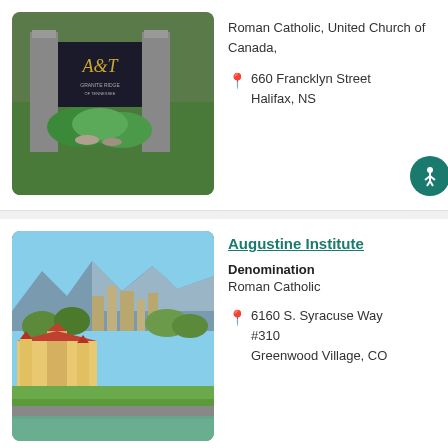[Figure (photo): Sign with A&T logo and stone pillars surrounded by green landscaping]
Roman Catholic, United Church of Canada,
660 Francklyn Street Halifax, NS
[Figure (photo): Aerial or distant view of Augustine Institute campus with mountains in background and Spanish-style buildings]
Augustine Institute
Denomination
Roman Catholic
6160 S. Syracuse Way #310 Greenwood Village, CO